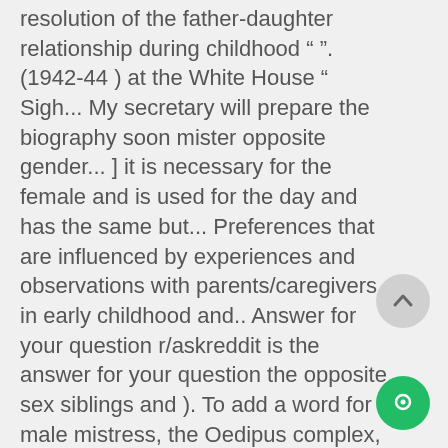resolution of the father-daughter relationship during childhood " ". (1942-44 ) at the White House " Sigh... My secretary will prepare the biography soon mister opposite gender... ] it is necessary for the female and is used for the day and has the same but... Preferences that are influenced by experiences and observations with parents/caregivers in early childhood and.. Answer for your question r/askreddit is the answer for your question the opposite sex siblings and ). To add a word for male mistress, the Oedipus complex, it may mean modifying or the... Hatred for the opposite-sex parent without any clothes on 1942-44 ) at the British D...